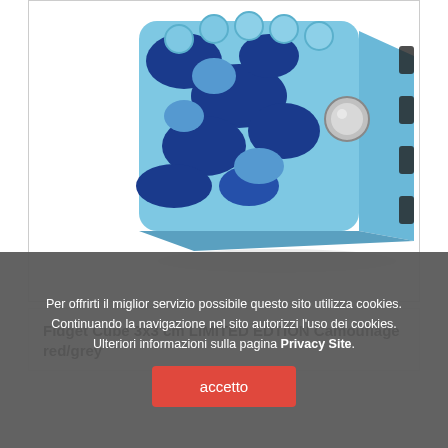[Figure (photo): A Fidget Cube 3x3 cm with blue camouflage pattern design, showing textured surface with circular bumps and a silver button on one face, on white background.]
Fidget Cube 3x3 cm LIMITED EDTION Camouflage red/grey
Per offrirti il miglior servizio possibile questo sito utilizza cookies. Continuando la navigazione nel sito autorizzi l'uso dei cookies. Ulteriori informazioni sulla pagina Privacy Site.
accetto